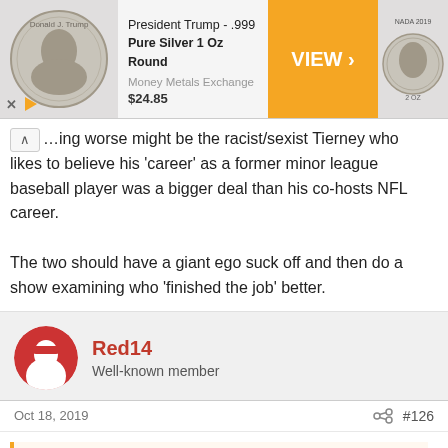[Figure (other): Advertisement banner: President Trump .999 Pure Silver 1 Oz Round coin ad from Money Metals Exchange, price $24.85, with VIEW > orange CTA button and coin images on left and right]
...thing worse might be the racist/sexist Tierney who likes to believe his 'career' as a former minor league baseball player was a bigger deal than his co-hosts NFL career.

The two should have a giant ego suck off and then do a show examining who 'finished the job' better.
Red14
Well-known member
Oct 18, 2019
#126
Salad76 said:
Travis blatantly makes things up. Then pretends to have inside info because he used to be a lawyer. Ok pal.